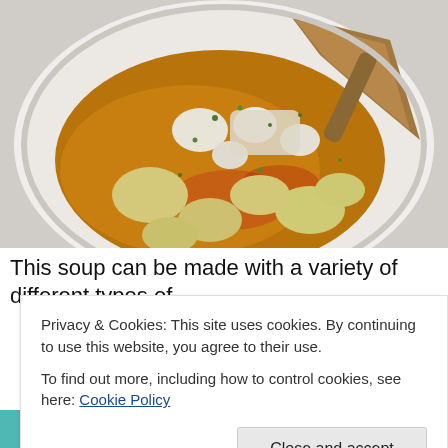[Figure (photo): A white scalloped bowl containing fish soup with potato chunks, scallops, herbs, and a piece of toasted bread, in a golden-brown broth, viewed from above on a white plate.]
This soup can be made with a variety of different types of
Privacy & Cookies: This site uses cookies. By continuing to use this website, you agree to their use.
To find out more, including how to control cookies, see here: Cookie Policy
[Figure (photo): Bottom portion of another food photo showing round pale items (possibly scallops or eggs) on a teal/turquoise background.]